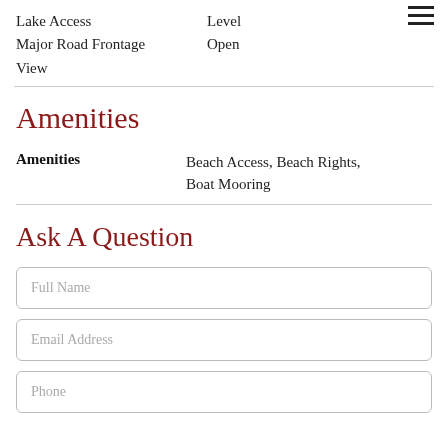Lake Access
Major Road Frontage
View
Level
Open
Amenities
| Amenities |  |
| --- | --- |
| Amenities | Beach Access, Beach Rights, Boat Mooring |
Ask A Question
Full Name
Email Address
Phone